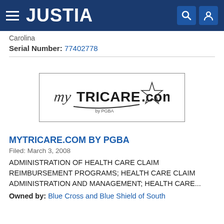JUSTIA
Carolina
Serial Number: 77402778
[Figure (logo): myTRICARE.com by PGBA logo inside a rectangular border. Stylized italic 'my' followed by bold 'TRICARE.com' with a shooting star graphic, and 'by PGBA' text below.]
MYTRICARE.COM BY PGBA
Filed: March 3, 2008
ADMINISTRATION OF HEALTH CARE CLAIM REIMBURSEMENT PROGRAMS; HEALTH CARE CLAIM ADMINISTRATION AND MANAGEMENT; HEALTH CARE...
Owned by: Blue Cross and Blue Shield of South